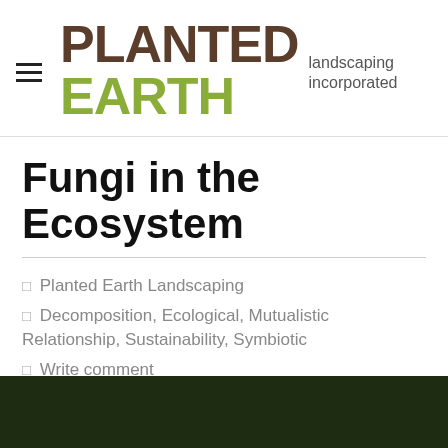[Figure (logo): Planted Earth landscaping incorporated logo with hamburger menu icon]
Fungi in the Ecosystem
□ Planted Earth Landscaping
□ Decomposition, Ecological, Mutualistic Relationship, Sustainability, Symbiotic
□ Write comment
[Figure (photo): Dark nature photo showing dark green foliage background, partially visible at bottom of page]